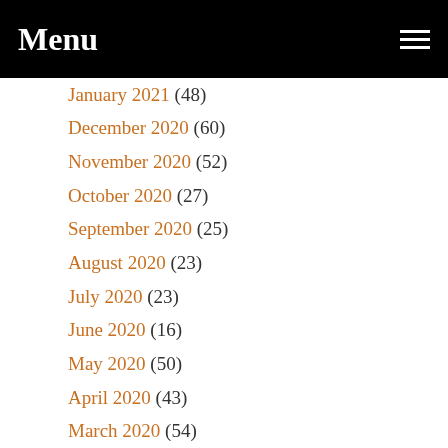Menu
January 2021 (48)
December 2020 (60)
November 2020 (52)
October 2020 (27)
September 2020 (25)
August 2020 (23)
July 2020 (23)
June 2020 (16)
May 2020 (50)
April 2020 (43)
March 2020 (54)
February 2020 (39)
January 2020 (38)
December 2019 (43)
November 2019 (36)
October 2019 (28)
September 2019 (54)
August 2019 (20)